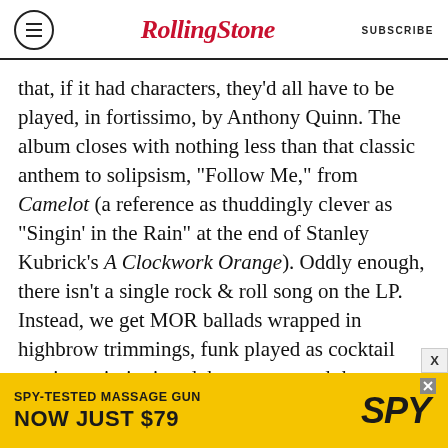Rolling Stone  SUBSCRIBE
that, if it had characters, they'd all have to be played, in fortissimo, by Anthony Quinn. The album closes with nothing less than that classic anthem to solipsism, "Follow Me," from Camelot (a reference as thuddingly clever as "Singin' in the Rain" at the end of Stanley Kubrick's A Clockwork Orange). Oddly enough, there isn't a single rock & roll song on the LP. Instead, we get MOR ballads wrapped in highbrow trimmings, funk played as cocktail music, an imitation-dub rap song and three (counting "Follow Me") pieces of fake-Tin Pan Alley, swing-era crooning.
Popular on Rolling Stone
[Figure (screenshot): Advertisement banner for SPY massage gun: 'SPY-TESTED MASSAGE GUN NOW JUST $79' on yellow background with SPY logo]